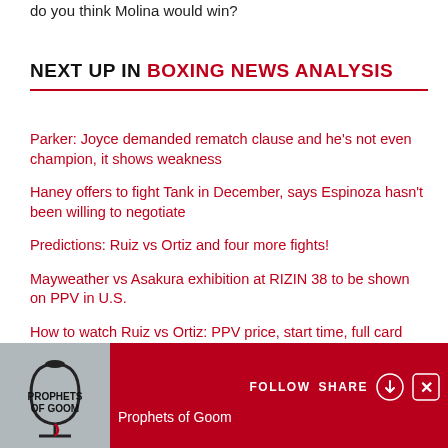do you think Molina would win?
NEXT UP IN BOXING NEWS ANALYSIS
Parker: Joyce demanded rematch clause and he's not even champion, it shows weakness
Haney offers to fight Tank in December, says Espinoza hasn't been willing to negotiate
Predictions: Ruiz vs Ortiz and four more fights!
Mayweather vs Asakura exhibition at RIZIN 38 to be shown on PPV in U.S.
How to watch Ruiz vs Ortiz: PPV price, start time, full card
Smith: I'll deal with Mwakinyo this weekend, want my big fight next
[Figure (logo): Prophets of Goom podcast logo and banner with Follow and Share buttons]